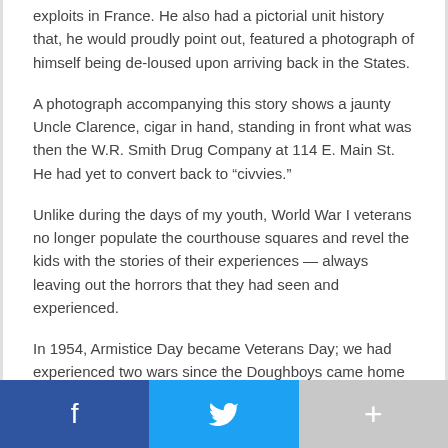exploits in France. He also had a pictorial unit history that, he would proudly point out, featured a photograph of himself being de-loused upon arriving back in the States.
A photograph accompanying this story shows a jaunty Uncle Clarence, cigar in hand, standing in front what was then the W.R. Smith Drug Company at 114 E. Main St. He had yet to convert back to “civvies.”
Unlike during the days of my youth, World War I veterans no longer populate the courthouse squares and revel the kids with the stories of their experiences — always leaving out the horrors that they had seen and experienced.
In 1954, Armistice Day became Veterans Day; we had experienced two wars since the Doughboys came home in 1919. Pause for a moment and recall what these young men and women gave; perhaps even don a remembrance poppy, once the symbol of Armistice Day.
Social sharing bar: Facebook, Twitter, More